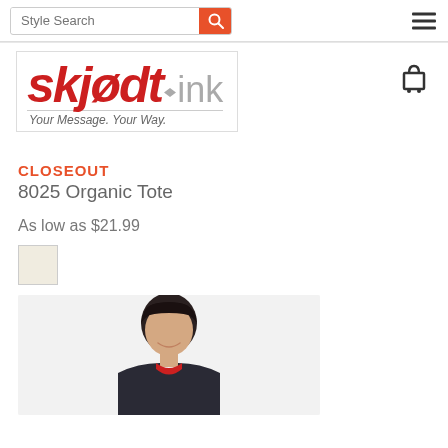[Figure (screenshot): Navigation bar with style search input and hamburger menu icon]
[Figure (logo): Skjodt Ink logo with tagline 'Your Message. Your Way.' and shopping cart icon]
CLOSEOUT
8025 Organic Tote
As low as $21.99
[Figure (photo): Color swatch - cream/natural color]
[Figure (photo): Photo of a young man smiling, wearing a dark jacket with red collar, on a light gray background]